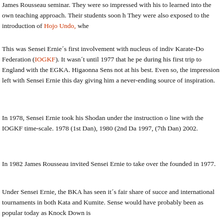James Rousseau seminar. They were so impressed with his to learned into the own teaching approach. Their students soon … They were also exposed to the introduction of Hojo Undo, whe…
This was Sensei Ernie´s first involvement with nucleus of indivi… Karate-Do Federation (IOGKF). It wasn´t until 1977 that he pe… during his first trip to England with the EGKA. Higaonna Sens… not at his best. Even so, the impression left with Sensei Ernie … this day giving him a never-ending source of inspiration.
In 1978, Sensei Ernie took his Shodan under the instruction o… line with the IOGKF time-scale. 1978 (1st Dan), 1980 (2nd Da… 1997, (7th Dan) 2002.
In 1982 James Rousseau invited Sensei Ernie to take over the… founded in 1977.
Under Sensei Ernie, the BKA has seen it´s fair share of succe… and international tournaments in both Kata and Kumite. Sense… would have probably been as popular today as Knock Down is…
There have been times when Sensei Ernie´s students have ap… religiously. Ernie said he could never imagine not training in G… would be an injury. As he has become older he has to listen to… operations fail to keep him from attending the Dojo.